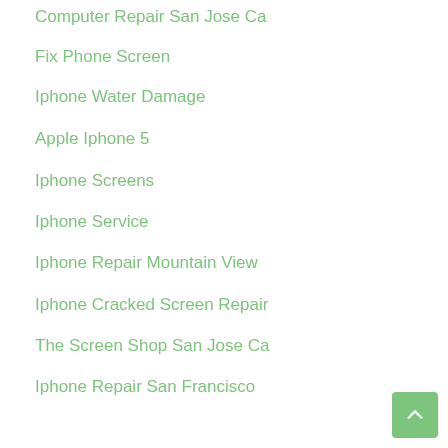Computer Repair San Jose Ca
Fix Phone Screen
Iphone Water Damage
Apple Iphone 5
Iphone Screens
Iphone Service
Iphone Repair Mountain View
Iphone Cracked Screen Repair
The Screen Shop San Jose Ca
Iphone Repair San Francisco
Iphone Fix
Screen Repair San Jose
Cell Phone Repair Mountain View